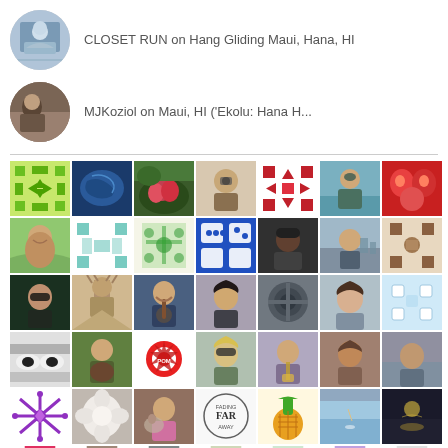CLOSET RUN on Hang Gliding Maui, Hana, HI
MJKoziol on Maui, HI ('Ekolu: Hana H...
[Figure (photo): Grid of user avatar thumbnails, 5 rows x 7 columns of small square/circular profile images with various patterns and photos]
[Figure (photo): Partial bottom row of avatar thumbnails]